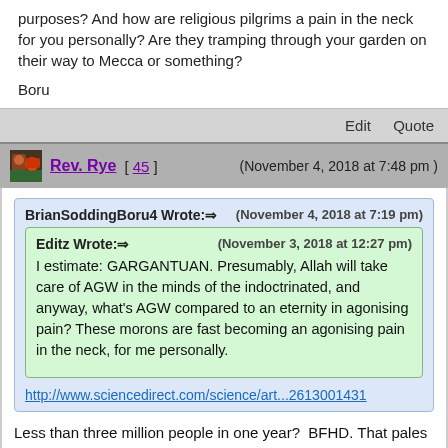purposes? And how are religious pilgrims a pain in the neck for you personally? Are they tramping through your garden on their way to Mecca or something?
Boru
Edit   Quote
Rev. Rye [ 45 ]   (November 4, 2018 at 7:48 pm)
BrianSoddingBoru4 Wrote:⇒   (November 4, 2018 at 7:19 pm)
Editz Wrote:⇒   (November 3, 2018 at 12:27 pm)
I estimate: GARGANTUAN. Presumably, Allah will take care of AGW in the minds of the indoctrinated, and anyway, what's AGW compared to an eternity in agonising pain? These morons are fast becoming an agonising pain in the neck, for me personally.
http://www.sciencedirect.com/science/art...2613001431
Less than three million people in one year?  BFHD. That pales into insignificance alongside non- religious tourism.  The fine folks at Wikipedia inform me that 20 million people visited the Disney park in Florida in 2014.